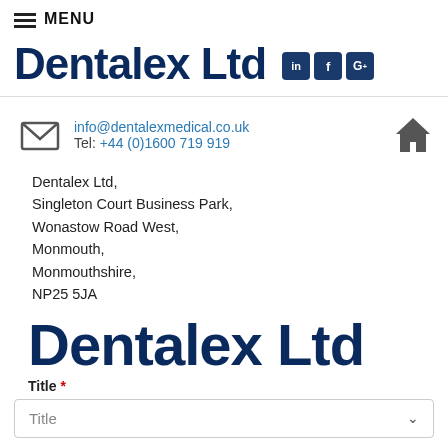≡ MENU
Dentalex Ltd
info@dentalexmedical.co.uk
Tel: +44 (0)1600 719 919
Dentalex Ltd,
Singleton Court Business Park,
Wonastow Road West,
Monmouth,
Monmouthshire,
NP25 5JA
Dentalex Ltd
Title *
Title